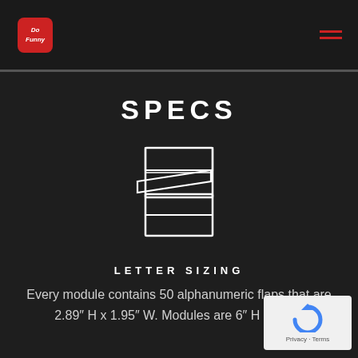Do Funny logo and navigation menu
SPECS
[Figure (illustration): Line art icon of a split-flap display module showing layered flap panels viewed from the side, white outline on dark background]
LETTER SIZING
Every module contains 50 alphanumeric flaps that are 2.89″ H x 1.95″ W. Modules are 6″ H x 3″ W.